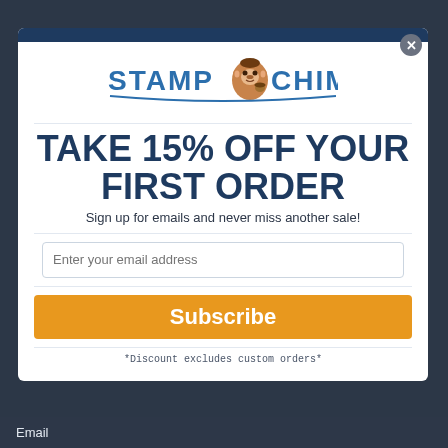[Figure (logo): Stamp Chimp logo with cartoon chimp and stylized text]
TAKE 15% OFF YOUR FIRST ORDER
Sign up for emails and never miss another sale!
Enter your email address
Subscribe
*Discount excludes custom orders*
Email